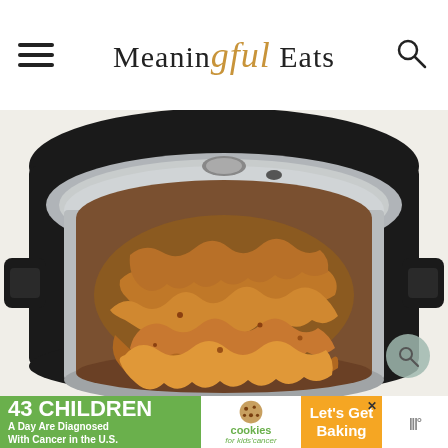Meaningful Eats
[Figure (photo): Overhead view of shredded seasoned chicken inside a stainless steel Instant Pot pressure cooker, dark exterior with black handles, white background]
43 CHILDREN A Day Are Diagnosed With Cancer in the U.S.
cookies for kids' cancer Let's Get Baking